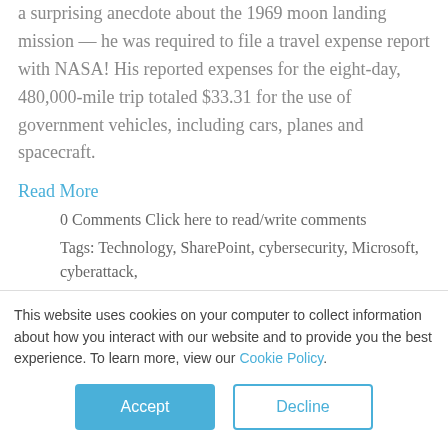a surprising anecdote about the 1969 moon landing mission — he was required to file a travel expense report with NASA! His reported expenses for the eight-day, 480,000-mile trip totaled $33.31 for the use of government vehicles, including cars, planes and spacecraft.
Read More
0 Comments Click here to read/write comments
Tags: Technology, SharePoint, cybersecurity, Microsoft, cyberattack,
This website uses cookies on your computer to collect information about how you interact with our website and to provide you the best experience. To learn more, view our Cookie Policy.